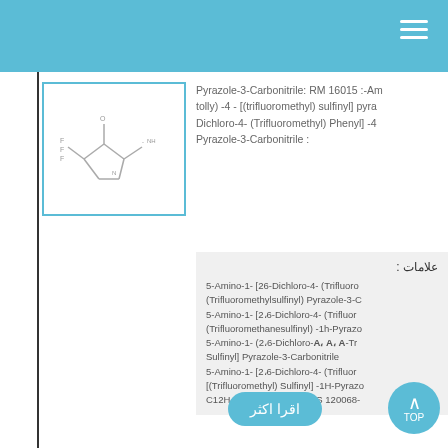[Figure (illustration): Chemical structure diagram of a pyrazole compound with trifluoromethyl group]
Pyrazole-3-Carbonitrile: RM 16015 :-Am tolly) -4 - [(trifluoromethyl) sulfinyl] pyra Dichloro-4- (Trifluoromethyl) Phenyl] -4 Pyrazole-3-Carbonitrile :
علامات :
5-Amino-1- [26-Dichloro-4- (Trifluoro (Trifluoromethylsulfinyl) Pyrazole-3-C
5-Amino-1- [2،6-Dichloro-4- (Trifluor (Trifluoromethanesulfinyl) -1h-Pyrazo
5-Amino-1- (2،6-Dichloro-A، A، A-Tr Sulfinyl] Pyrazole-3-Carbonitrile
5-Amino-1- [2،6-Dichloro-4- (Trifluor [(Trifluoromethyl) Sulfinyl] -1H-Pyrazo
C12H4CL2F6N4OS    CAS 120068-
اقرا اكثر